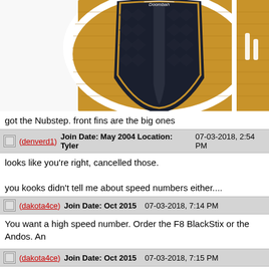[Figure (photo): Photo of a surfboard with black traction pad on a bamboo/wood deck with white rails, shown from above. Part of a second board visible on the right.]
got the Nubstep. front fins are the big ones
(denverd1)   Join Date: May 2004  Location: Tyler   07-03-2018, 2:54 PM
looks like you're right, cancelled those.

you kooks didn't tell me about speed numbers either....
(dakota4ce)   Join Date: Oct 2015   07-03-2018, 7:14 PM
You want a high speed number. Order the F8 BlackStix or the Andos. An
(dakota4ce)   Join Date: Oct 2015   07-03-2018, 7:15 PM
Run it as a twin—Just two front fins. And proceed to shred.